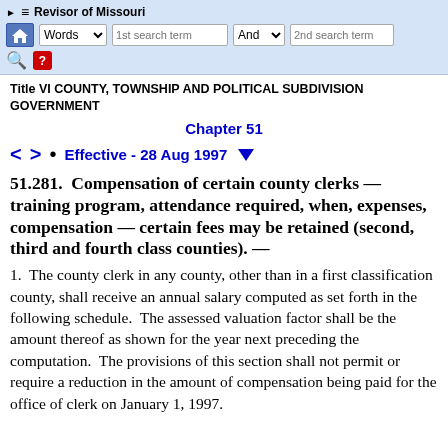Revisor of Missouri — navigation bar with search fields
Title VI COUNTY, TOWNSHIP AND POLITICAL SUBDIVISION GOVERNMENT
Chapter 51
< > • Effective - 28 Aug 1997
51.281. Compensation of certain county clerks — training program, attendance required, when, expenses, compensation — certain fees may be retained (second, third and fourth class counties). —
1. The county clerk in any county, other than in a first classification county, shall receive an annual salary computed as set forth in the following schedule. The assessed valuation factor shall be the amount thereof as shown for the year next preceding the computation. The provisions of this section shall not permit or require a reduction in the amount of compensation being paid for the office of clerk on January 1, 1997.